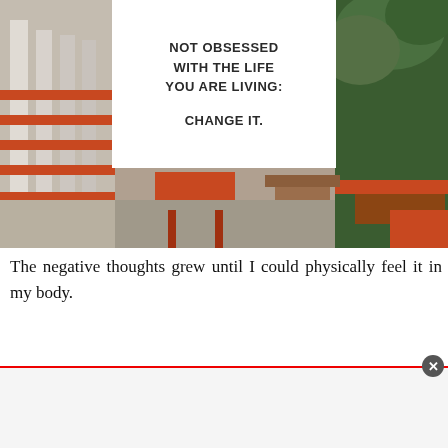[Figure (photo): Photo of outdoor seating area with orange/red benches and chairs, wooden tables, columns visible on left side, green foliage on right. A white overlay box in the upper center contains bold text reading 'NOT OBSESSED WITH THE LIFE YOU ARE LIVING: CHANGE IT.']
The negative thoughts grew until I could physically feel it in my body.
[Figure (other): Advertisement bar at bottom of page with red top border and a dark circular close/X button in top right corner.]